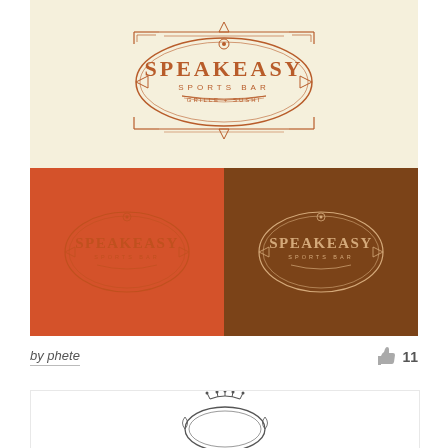[Figure (logo): Speakeasy Sports Bar Grille + Sushi logo on cream background - art deco style with oval/diamond badge shape, brown and orange colors]
[Figure (logo): Speakeasy Sports Bar logo repeated on orange background (left) and dark brown background (right) showing color variations]
by phete
11
[Figure (logo): Partial view of an ornate decorative circular logo with crown-like top element, dark grey/black on white background]